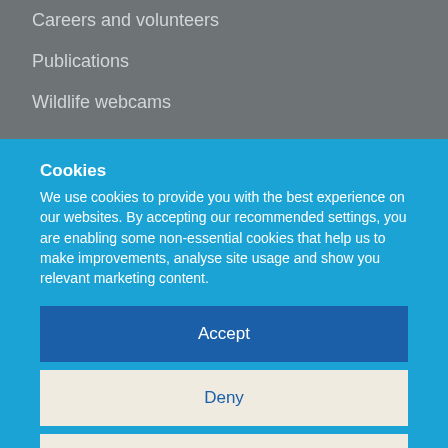Careers and volunteers
Publications
Wildlife webcams
Cookies
We use cookies to provide you with the best experience on our websites. By accepting our recommended settings, you are enabling some non-essential cookies that help us to make improvements, analyse site usage and show you relevant marketing content.
Accept
Deny
Preferences
Cookie Policy   Privacy notice